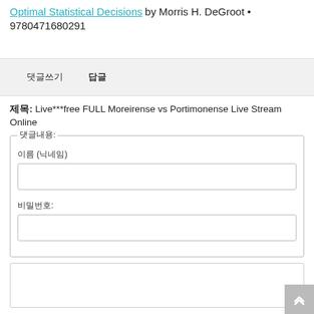Optimal Statistical Decisions by Morris H. DeGroot • 9780471680291
댓글쓰기  답글
제목: Live***free FULL Moreirense vs Portimonense Live Stream Online
댓글내용: 이름 (닉네임) 비밀번호: